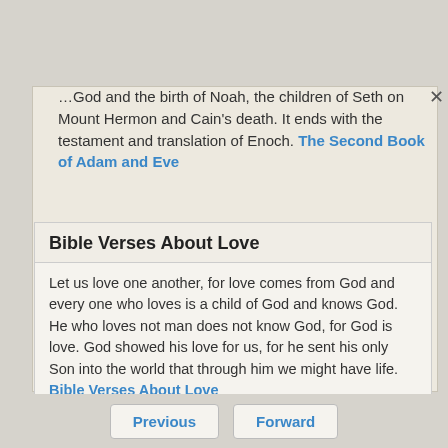…God and the birth of Noah, the children of Seth on Mount Hermon and Cain's death. It ends with the testament and translation of Enoch. The Second Book of Adam and Eve
Bible Verses About Love
Let us love one another, for love comes from God and every one who loves is a child of God and knows God. He who loves not man does not know God, for God is love. God showed his love for us, for he sent his only Son into the world that through him we might have life. Bible Verses About Love